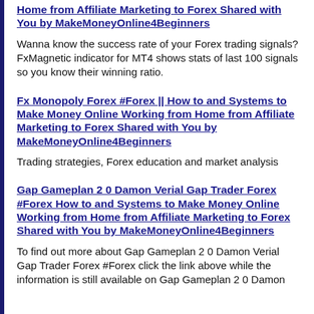Home from Affiliate Marketing to Forex Shared with You by MakeMoneyOnline4Beginners
Wanna know the success rate of your Forex trading signals? FxMagnetic indicator for MT4 shows stats of last 100 signals so you know their winning ratio.
Fx Monopoly Forex #Forex || How to and Systems to Make Money Online Working from Home from Affiliate Marketing to Forex Shared with You by MakeMoneyOnline4Beginners
Trading strategies, Forex education and market analysis
Gap Gameplan 2 0 Damon Verial Gap Trader Forex #Forex How to and Systems to Make Money Online Working from Home from Affiliate Marketing to Forex Shared with You by MakeMoneyOnline4Beginners
To find out more about Gap Gameplan 2 0 Damon Verial Gap Trader Forex #Forex click the link above while the information is still available on Gap Gameplan 2 0 Damon